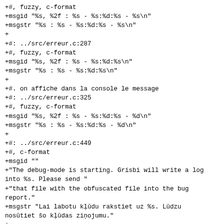+#, fuzzy, c-format
+msgid "%s, %2f : %s - %s:%d:%s - %s\n"
+msgstr "%s : %s - %s:%d:%s - %s\n"
+
+#: ../src/erreur.c:287
+#, fuzzy, c-format
+msgid "%s, %2f : %s - %s:%d:%s\n"
+msgstr "%s : %s - %s:%d:%s\n"
+
+#. on affiche dans la console le message
+#: ../src/erreur.c:325
+#, fuzzy, c-format
+msgid "%s, %2f : %s - %s:%d:%s - %d\n"
+msgstr "%s : %s - %s:%d:%s - %d\n"
+
+#: ../src/erreur.c:449
+#, c-format
+msgid ""
+"The debug-mode is starting. Grisbi will write a log into %s. Please send "
+"that file with the obfuscated file into the bug report."
+msgstr "Lai labotu kļūdu rakstiet uz %s. Lūdzu nosūtiet šo kļūdas ziņojumu."
+
+#: ../src/erreur.c:467
+msgid "Grisbi failed to create the log file..."
+msgstr "Grisbi neizdevās parādīt failu logu..."
+
+#: ../src/etats_affiche.c:179